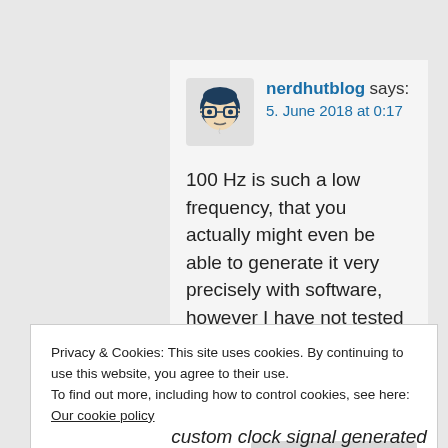[Figure (illustration): Avatar of nerdhutblog: cartoon face with glasses and dark hair on light background]
nerdhutblog says:
5. June 2018 at 0:17
100 Hz is such a low frequency, that you actually might even be able to generate it very precisely with software, however I have not tested that. But if you have already found out, that UART works, so why go through the trouble of creating a custom
Privacy & Cookies: This site uses cookies. By continuing to use this website, you agree to their use.
To find out more, including how to control cookies, see here: Our cookie policy
Accept and close
custom clock signal generated by the